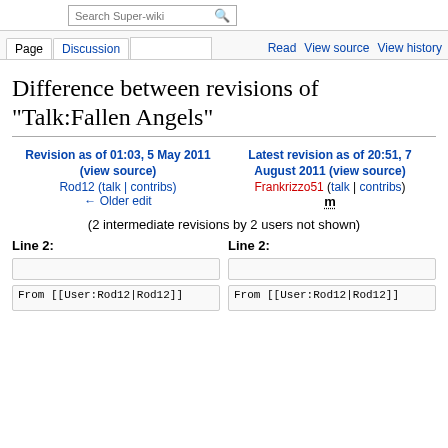Search Super-wiki | Page | Discussion | Read | View source | View history
Difference between revisions of "Talk:Fallen Angels"
Revision as of 01:03, 5 May 2011 (view source)
Rod12 (talk | contribs)
← Older edit
Latest revision as of 20:51, 7 August 2011 (view source)
Frankrizzo51 (talk | contribs)
m
(2 intermediate revisions by 2 users not shown)
Line 2:
Line 2:
From [[User:Rod12|Rod12]]
From [[User:Rod12|Rod12]]